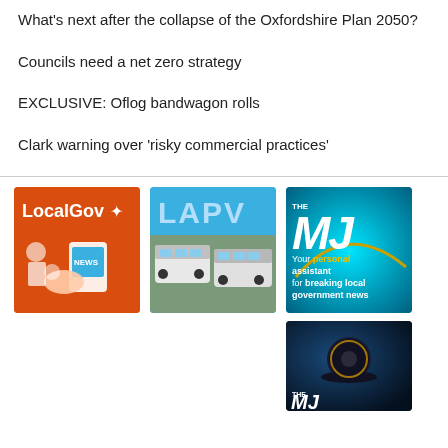What's next after the collapse of the Oxfordshire Plan 2050?
Councils need a net zero strategy
EXCLUSIVE: Oflog bandwagon rolls
Clark warning over 'risky commercial practices'
[Figure (logo): LocalGov logo on orange background with news/tablet illustration]
[Figure (logo): LAPV logo on blue background with buses photo]
[Figure (logo): The MJ - Your personal assistant for breaking local government news, cyan/teal background]
[Figure (logo): The MJ logo on dark blue background with smart speaker device]